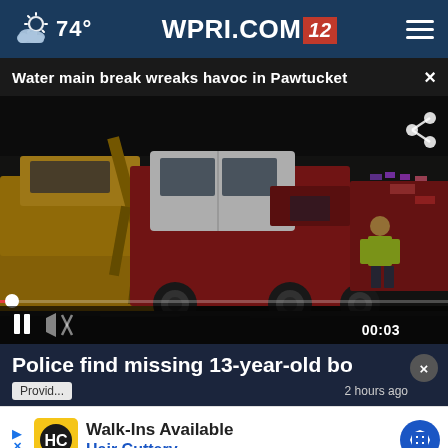74° WPRI.COM 12
Water main break wreaks havoc in Pawtucket
[Figure (screenshot): Video player showing fire trucks and emergency workers at night scene. Controls show paused at 00:03. Share icon visible top right.]
Police find missing 13-year-old bo
Provid... 2 hours ago
[Figure (advertisement): Hair Cuttery advertisement banner: Walk-Ins Available, Hair Cuttery, with HC logo and navigation arrow icon]
[Figure (photo): Bottom partial image strip, dark background]